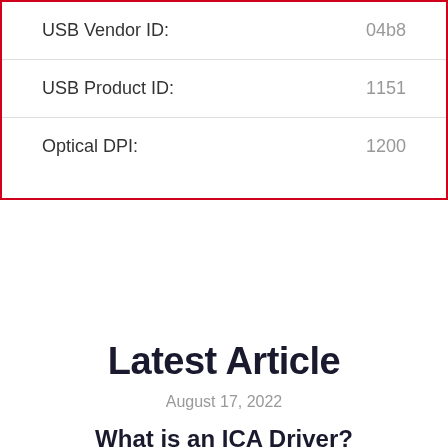| Property | Value |
| --- | --- |
| USB Vendor ID: | 04b8 |
| USB Product ID: | 1151 |
| Optical DPI: | 1200 |
Latest Article
August 17, 2022
What is an ICA Driver?